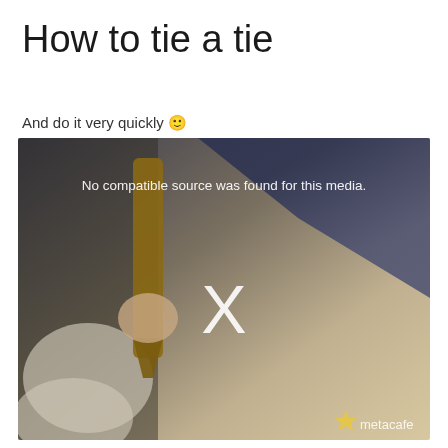How to tie a tie
And do it very quickly 🙂
[Figure (screenshot): Video player screenshot showing a blurred/unavailable video of someone holding a tie, with text overlay 'No compatible source was found for this media.' and a large X icon in the center. Metacafe watermark visible in bottom right corner.]